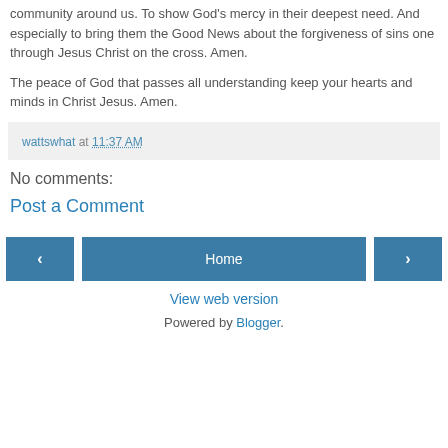community around us. To show God's mercy in their deepest need. And especially to bring them the Good News about the forgiveness of sins one through Jesus Christ on the cross. Amen.
The peace of God that passes all understanding keep your hearts and minds in Christ Jesus. Amen.
wattswhat at 11:37 AM
No comments:
Post a Comment
‹   Home   ›
View web version
Powered by Blogger.